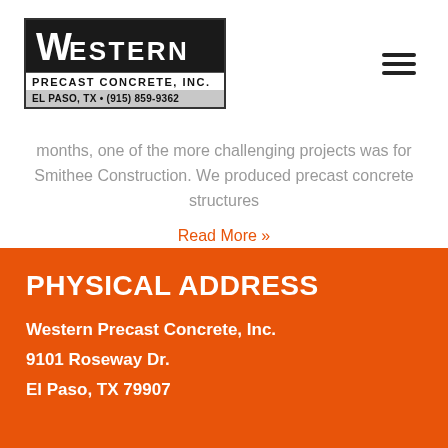[Figure (logo): Western Precast Concrete, Inc. logo — black background top with white WESTERN text, white bottom with PRECAST CONCRETE, INC. and EL PASO, TX • (915) 859-9362]
months, one of the more challenging projects was for Smithee Construction. We produced precast concrete structures
Read More »
PHYSICAL ADDRESS
Western Precast Concrete, Inc.
9101 Roseway Dr.
El Paso, TX 79907